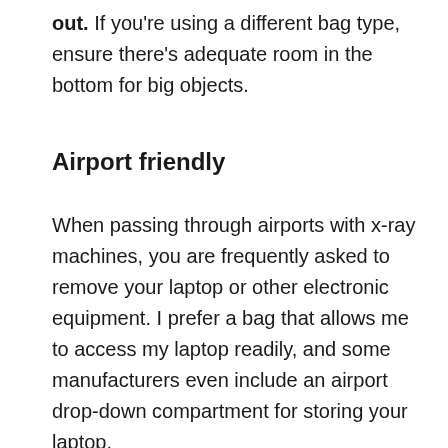out. If you're using a different bag type, ensure there's adequate room in the bottom for big objects.
Airport friendly
When passing through airports with x-ray machines, you are frequently asked to remove your laptop or other electronic equipment. I prefer a bag that allows me to access my laptop readily, and some manufacturers even include an airport drop-down compartment for storing your laptop.